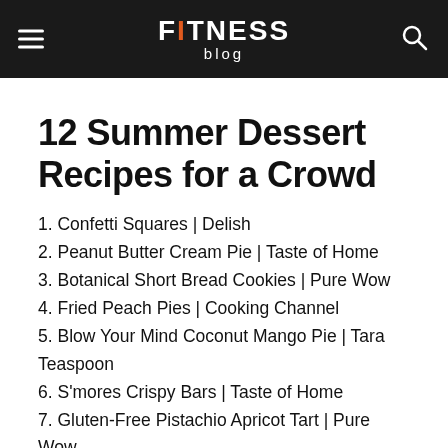FITNESS blog
12 Summer Dessert Recipes for a Crowd
1. Confetti Squares | Delish
2. Peanut Butter Cream Pie | Taste of Home
3. Botanical Short Bread Cookies | Pure Wow
4. Fried Peach Pies | Cooking Channel
5. Blow Your Mind Coconut Mango Pie | Tara Teaspoon
6. S'mores Crispy Bars | Taste of Home
7. Gluten-Free Pistachio Apricot Tart | Pure Wow
8. Pink Lemonade Cake | Tara Teaspoon
9. Brown Butter Peach Cobbler | Bon Appetit